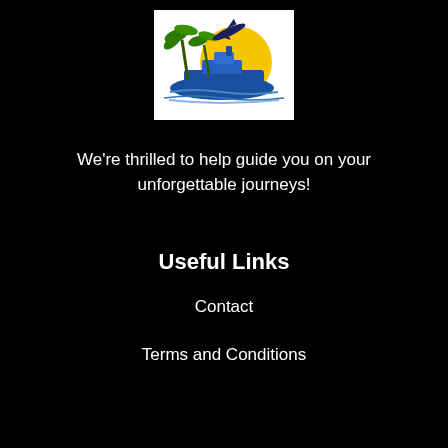[Figure (logo): Travel company logo featuring a cruise ship, palm trees, sun, and airplane in blue, yellow, and gold colors]
We're thrilled to help guide you on your unforgettable journeys!
Useful Links
Contact
Terms and Conditions